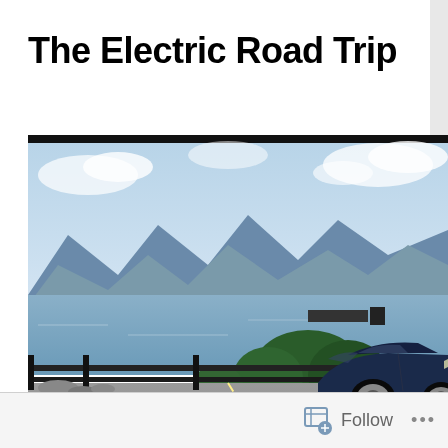The Electric Road Trip
[Figure (photo): A dark blue Tesla Model S parked on a road beside a metal railing, with a large lake and mountain range in the background under a partly cloudy sky. Navigation bar below reads: Home, About, AutoP and Nav, Free Unlimited Supercharging for]
Follow ...